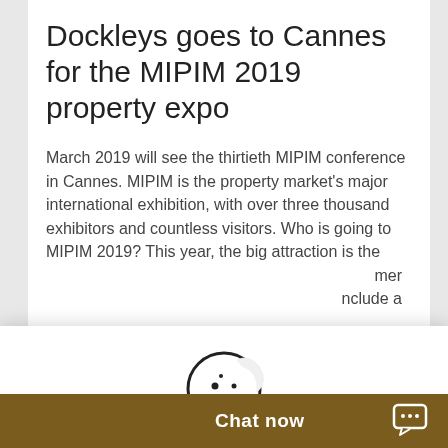Dockleys goes to Cannes for the MIPIM 2019 property expo
March 2019 will see the thirtieth MIPIM conference in Cannes. MIPIM is the property market's major international exhibition, with over three thousand exhibitors and countless visitors. Who is going to MIPIM 2019? This year, the big attraction is the [partially obscured] ...mer ...nclude a
[Figure (screenshot): Cookie consent overlay with cookie icon, message 'By continuing to use the site, you agree to the use of cookies. more information', and an Accept button. Also shows a 'Chat now' bar at the bottom.]